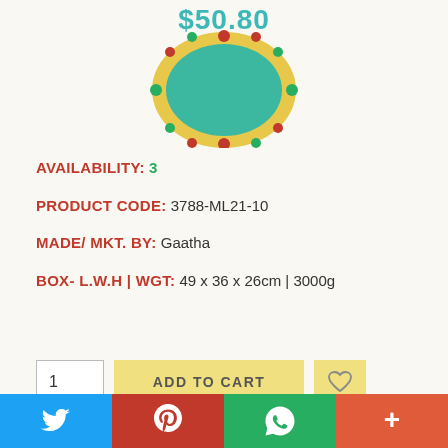[Figure (photo): Partial view of a terracotta jewelry item (ring/brooch) with teal/turquoise center and gold border with red/green accents, with price $50.80 shown above]
AVAILABILITY:  3
PRODUCT CODE:  3788-ML21-10
MADE/ MKT. BY:  Gaatha
BOX- L.W.H | WGT:  49 x 36 x 26cm | 3000g
1  ADD TO CART  [heart]
TAGS:  Molela terracotta,  Terracotta idols,  Clay god idols
Molela idols,  Terracotta deity,  Tribal art
[Figure (infographic): Social sharing bar with Twitter (blue), Pinterest (red), WhatsApp (green), and More (+) (orange-red) buttons]